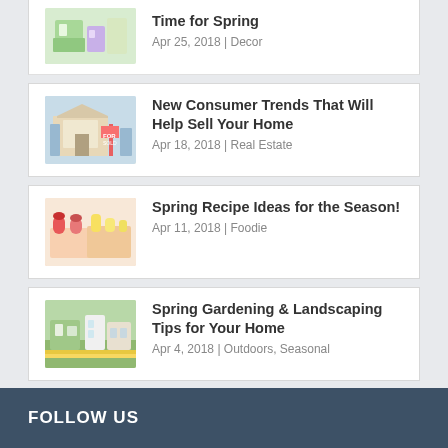Time for Spring
Apr 25, 2018 | Decor
New Consumer Trends That Will Help Sell Your Home
Apr 18, 2018 | Real Estate
Spring Recipe Ideas for the Season!
Apr 11, 2018 | Foodie
Spring Gardening & Landscaping Tips for Your Home
Apr 4, 2018 | Outdoors, Seasonal
Our List of Calgary Home Builders: Part 3
Mar 28, 2018 | Spotlights
FOLLOW US